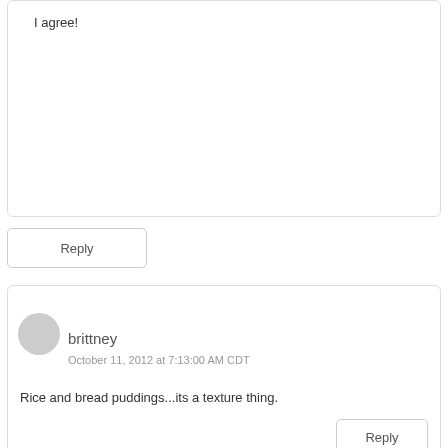I agree!
Reply
brittney
October 11, 2012 at 7:13:00 AM CDT
Rice and bread puddings...its a texture thing.
Reply
Anonymous
October 11, 2012 at 7:15:00 AM CDT